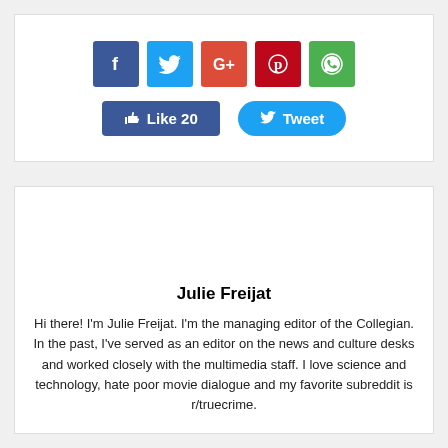[Figure (other): Social share widget with Facebook, Twitter, Google+, Pinterest, WhatsApp icon buttons, plus Like 20 and Tweet action buttons]
Julie Freijat
Hi there! I'm Julie Freijat. I'm the managing editor of the Collegian. In the past, I've served as an editor on the news and culture desks and worked closely with the multimedia staff. I love science and technology, hate poor movie dialogue and my favorite subreddit is r/truecrime.